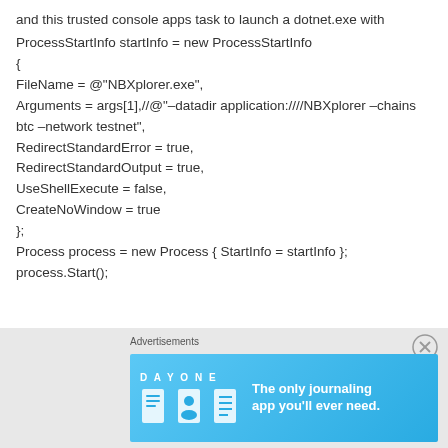and this trusted console apps task to launch a dotnet.exe with
ProcessStartInfo startInfo = new ProcessStartInfo
{
FileName = @"NBXplorer.exe",
Arguments = args[1],//@"–datadir application:////NBXplorer –chains btc –network testnet",
RedirectStandardError = true,
RedirectStandardOutput = true,
UseShellExecute = false,
CreateNoWindow = true
};
Process process = new Process { StartInfo = startInfo };
process.Start();
[Figure (screenshot): Advertisement banner for Day One journaling app with blue gradient background showing app icons and text 'The only journaling app you'll ever need.']